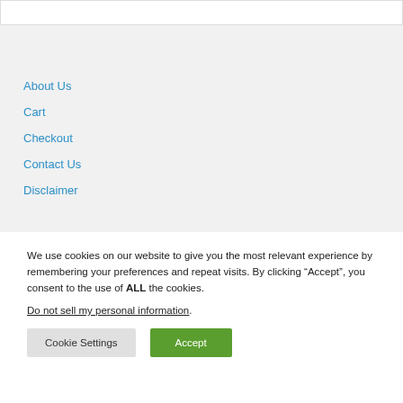About Us
Cart
Checkout
Contact Us
Disclaimer
We use cookies on our website to give you the most relevant experience by remembering your preferences and repeat visits. By clicking “Accept”, you consent to the use of ALL the cookies.
Do not sell my personal information.